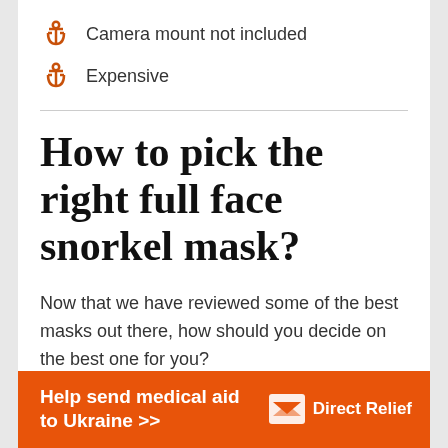Camera mount not included
Expensive
How to pick the right full face snorkel mask?
Now that we have reviewed some of the best masks out there, how should you decide on the best one for you?
[Figure (infographic): Orange advertisement banner: Help send medical aid to Ukraine >> Direct Relief logo]